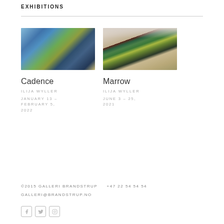EXHIBITIONS
[Figure (photo): Gallery wall with two large abstract paintings in blue, green, and dark tones — exhibition view of Cadence]
Cadence
ILIJA WYLLER
JANUARY 13 – FEBRUARY 5, 2022
[Figure (photo): Gallery room with multiple large colorful paintings including green, yellow, and dark abstract works — exhibition view of Marrow]
Marrow
ILIJA WYLLER
JUNE 3 – 25, 2021
©2015 GALLERI BRANDSTRUP    +47 22 54 54 54   GALLERI@BRANDSTRUP.NO